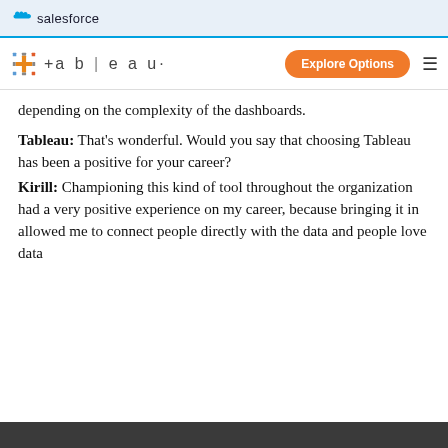salesforce
tableau | Explore Options ≡
depending on the complexity of the dashboards.
Tableau: That's wonderful. Would you say that choosing Tableau has been a positive for your career?
Kirill: Championing this kind of tool throughout the organization had a very positive experience on my career, because bringing it in allowed me to connect people directly with the data and people love data